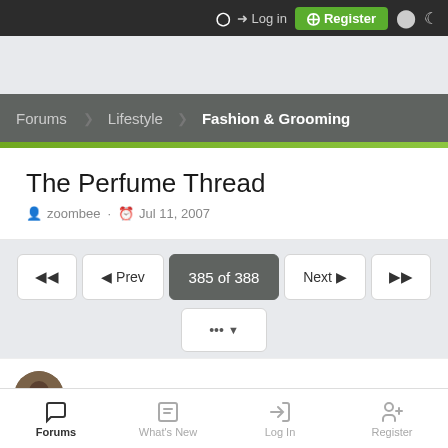Login | Register
Forums > Lifestyle > Fashion & Grooming
The Perfume Thread
zoombee · Jul 11, 2007
◀◀  ◀ Prev  385 of 388  Next ▶  ▶▶
... ▼
Zhong Xina
Forums | What's New | Log In | Register